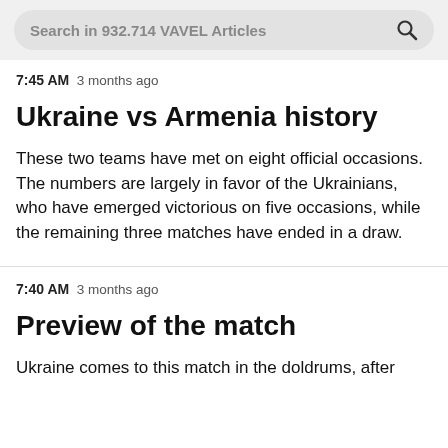Search in 932.714 VAVEL Articles
7:45 AM  3 months ago
Ukraine vs Armenia history
These two teams have met on eight official occasions. The numbers are largely in favor of the Ukrainians, who have emerged victorious on five occasions, while the remaining three matches have ended in a draw.
7:40 AM  3 months ago
Preview of the match
Ukraine comes to this match in the doldrums, after